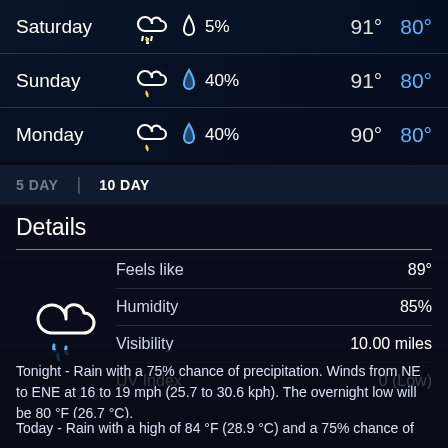| Day | Icon | Precipitation | High | Low |
| --- | --- | --- | --- | --- |
| Saturday | thunderstorm | 5% | 91° | 80° |
| Sunday | thunderstorm | 40% | 91° | 80° |
| Monday | thunderstorm | 40% | 90° | 80° |
5 DAY | 10 DAY
Details
| Detail | Value |
| --- | --- |
| Feels like | 89° |
| Humidity | 85% |
| Visibility | 10.00 miles |
| UV Index | 0 (Low) |
Tonight - Rain with a 75% chance of precipitation. Winds from NE to ENE at 16 to 19 mph (25.7 to 30.6 kph). The overnight low will be 80 °F (26.7 °C).
Today - Rain with a high of 84 °F (28.9 °C) and a 75% chance of